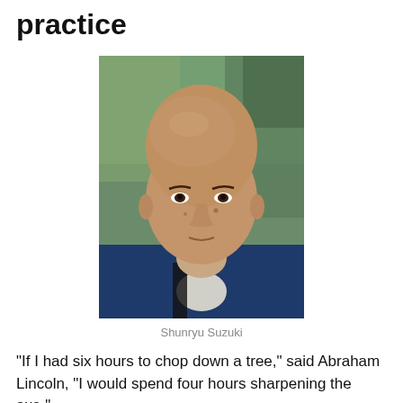practice
[Figure (photo): Portrait photograph of Shunryu Suzuki, a bald Japanese Buddhist monk wearing a dark blue robe, photographed outdoors with a blurred green background.]
Shunryu Suzuki
“If I had six hours to chop down a tree,” said Abraham Lincoln, “I would spend four hours sharpening the axe.”